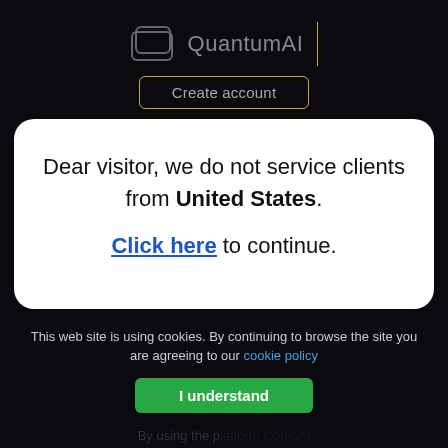[Figure (logo): QuantumAI logo with wallet icon and vertical gold divider line]
Create account
Dear visitor, we do not service clients from United States.
Click here to continue.
This web site is using cookies. By continuing to browse the site you are agreeing to our cookie policy
I understand
By using the p... CompAI you can help to take the exclusivit of th...